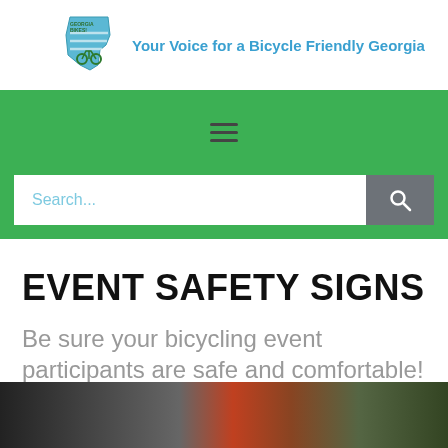[Figure (logo): Georgia Bikes! logo with state outline graphic and tagline 'Your Voice for a Bicycle Friendly Georgia']
[Figure (other): Green navigation bar with hamburger menu icon (three horizontal lines)]
[Figure (screenshot): Search input field with placeholder text 'Search...' and a dark search button with magnifying glass icon]
EVENT SAFETY SIGNS
Be sure your bicycling event participants are safe and comfortable!
[Figure (photo): Partial photo strip at bottom showing outdoor scene with trees and a red triangular shape (possibly a sign)]